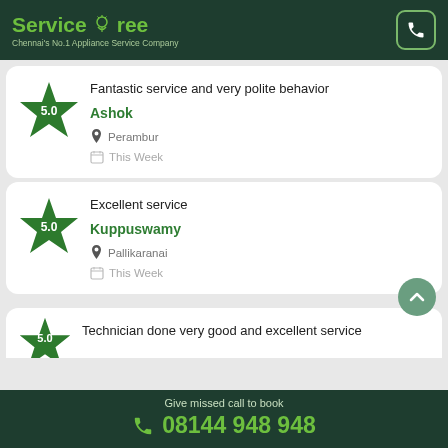ServiceTree — Chennai's No.1 Appliance Service Company
Fantastic service and very polite behavior — Ashok — Perambur — This Week — 5.0
Excellent service — Kuppuswamy — Pallikaranai — This Week — 5.0
Technician done very good and excellent service — 5.0
Give missed call to book 08144 948 948